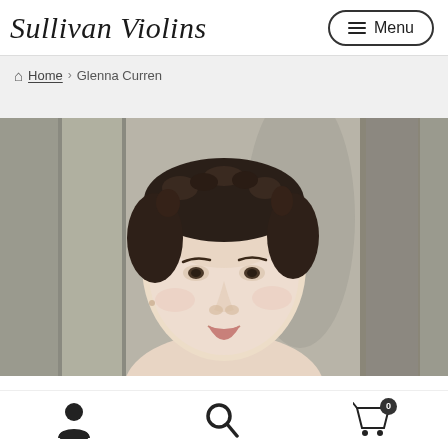Sullivan Violins — Menu
Home › Glenna Curren
[Figure (photo): Portrait photo of Glenna Curren, a young woman with dark curly hair pinned up, looking at the camera with a slight smile, blurred architectural background in grey tones.]